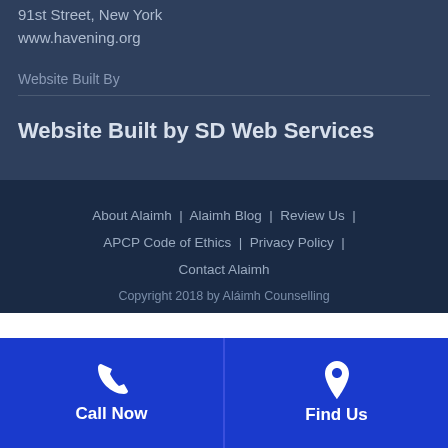91st Street, New York
www.havening.org
Website Built By
Website Built by SD Web Services
About Alaimh | Alaimh Blog | Review Us | APCP Code of Ethics | Privacy Policy | Contact Alaimh
Copyright 2018 by Aláimh Counselling
Call Now
Find Us